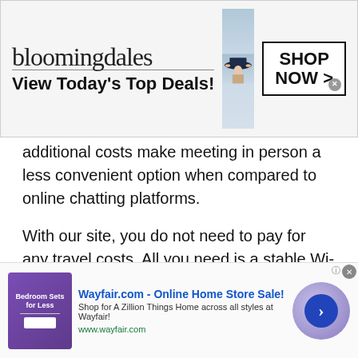[Figure (other): Bloomingdales advertisement banner with logo, model wearing hat, and SHOP NOW button]
additional costs make meeting in person a less convenient option when compared to online chatting platforms.
With our site, you do not need to pay for any travel costs. All you need is a stable Wi-Fi connection and a working device to log onto and join an Namibian Talking . Plus, there is no additional fees of registration since our site is absolutely free !
Eliminating the Need to Travel
[Figure (other): Wayfair.com advertisement banner with bedroom furniture image, title, description and forward arrow button]